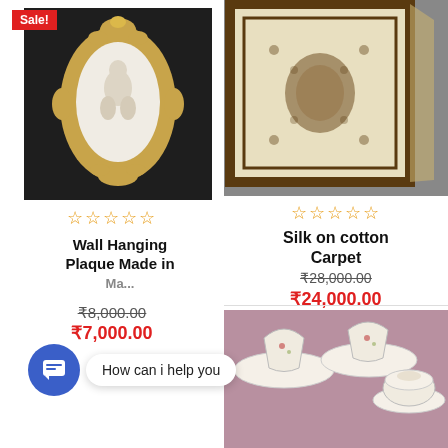[Figure (photo): Wall hanging plaque with ornate golden frame and white relief sculpture, shown on a dark sofa]
Sale!
☆☆☆☆☆
Wall Hanging Plaque Made in
₹8,000.00
₹7,000.00
[Figure (photo): Silk on cotton carpet with intricate floral pattern, beige and green tones]
☆☆☆☆☆
Silk on cotton Carpet
₹28,000.00
₹24,000.00
[Figure (photo): Tea set with floral pattern cups, saucers, and sugar bowl on purple fabric]
How can i help you